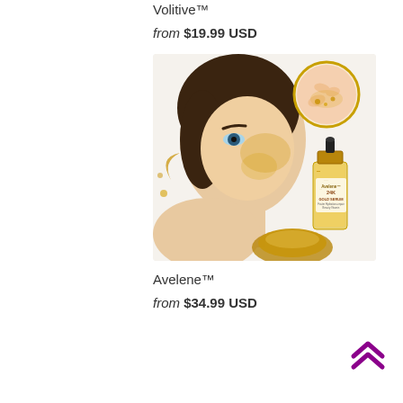Volitive™
from $19.99 USD
[Figure (photo): Product photo of Avelene 24K Gold Serum with woman's face showing gold serum application, a circular inset showing serum texture on skin, and a gold serum bottle labeled 'Avelene 24K GOLD SERUM']
Avelene™
from $34.99 USD